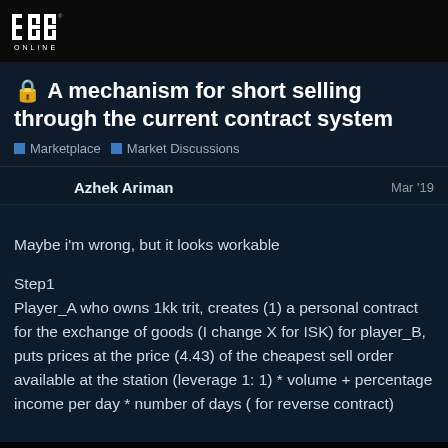[Figure (logo): EVE Online logo in white on dark background]
A mechanism for short selling through the current contract system
Marketplace   Market Discussions
Azhek Ariman   Mar '19
Maybe i'm wrong, but it looks workable

Step1
Player_A who owns 1kk trit, creates (1) a personal contract for the exchange of goods (I change X for ISK) for player_B, puts prices at the price (4.43) of the cheapest sell order available at the station (leverage 1: 1) * volume + percentage income per day * number of days ( for reverse contract)